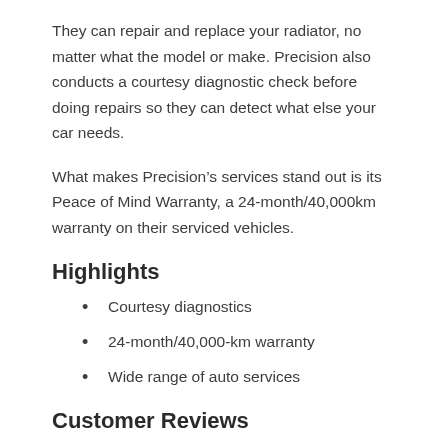They can repair and replace your radiator, no matter what the model or make. Precision also conducts a courtesy diagnostic check before doing repairs so they can detect what else your car needs.
What makes Precision’s services stand out is its Peace of Mind Warranty, a 24-month/40,000km warranty on their serviced vehicles.
Highlights
Courtesy diagnostics
24-month/40,000-km warranty
Wide range of auto services
Customer Reviews